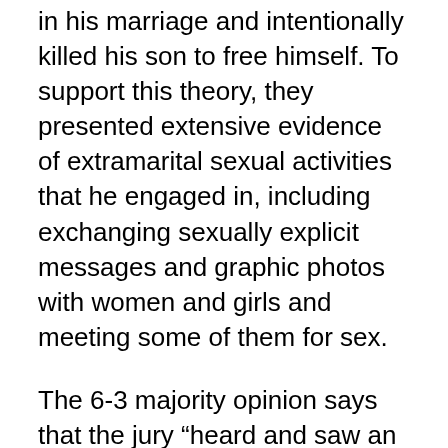in his marriage and intentionally killed his son to free himself. To support this theory, they presented extensive evidence of extramarital sexual activities that he engaged in, including exchanging sexually explicit messages and graphic photos with women and girls and meeting some of them for sex.
The 6-3 majority opinion says that the jury “heard and saw an extensive amount of improperly admitted evidence.” It says that as prosecutors painted Harris as a man who “intentionally and maliciously” abandoned his child to die in the summer heat, they also “presented a substantial amount of evidence to lead the jury to answer a different and more legally problematic question: what kind